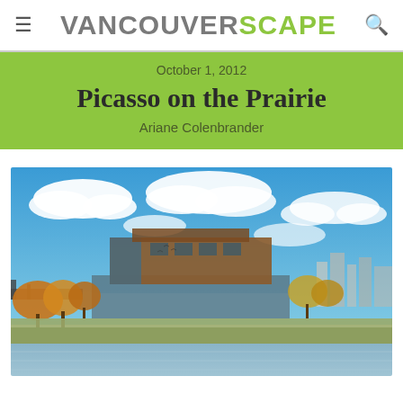VANCOUVERSCAPE
October 1, 2012
Picasso on the Prairie
Ariane Colenbrander
[Figure (photo): Exterior photograph of a modern museum building (likely the Canadian Museum for Human Rights) with a brick facade, situated near a river with autumn trees and city skyline under a bright blue sky with clouds.]